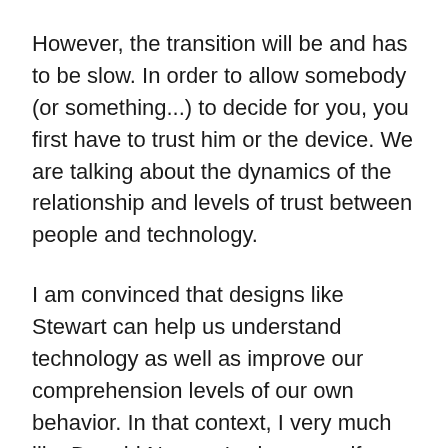However, the transition will be and has to be slow. In order to allow somebody (or something...) to decide for you, you first have to trust him or the device. We are talking about the dynamics of the relationship and levels of trust between people and technology.
I am convinced that designs like Stewart can help us understand technology as well as improve our comprehension levels of our own behavior. In that context, I very much like Donald Norman's view on self-driving cars. Norman is the author of 'The Design of Future Things' and a consultant to BMW. He compares driving an autonomous car to riding a horse that already knows where to go: you either